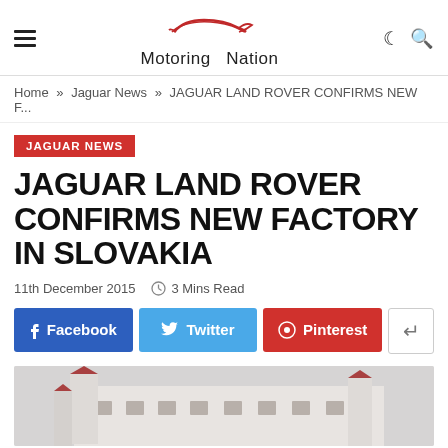Motoring Nation
Home » Jaguar News » JAGUAR LAND ROVER CONFIRMS NEW F...
JAGUAR NEWS
JAGUAR LAND ROVER CONFIRMS NEW FACTORY IN SLOVAKIA
11th December 2015   3 Mins Read
[Figure (screenshot): Social share buttons: Facebook, Twitter, Pinterest, and a share icon button]
[Figure (photo): Photo of a white castle/palace building with red-roofed towers, likely Bratislava Castle in Slovakia]